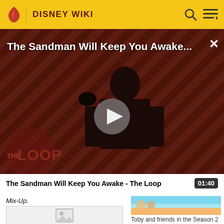DISNEY WIKI
[Figure (screenshot): Video player showing 'The Sandman Will Keep You Awake...' with a play button overlay, dark diagonal striped background with a figure in black costume, and 'THE LOOP' logo at bottom left.]
The Sandman Will Keep You Awake - The Loop
Mix-Up.
[Figure (photo): Thumbnail image placeholder with broken image icon]
[Figure (screenshot): Thumbnail showing Toby and friends in the Season 2 intro, colorful animated scene with sky background.]
Toby and friends in the Season 2 intro.